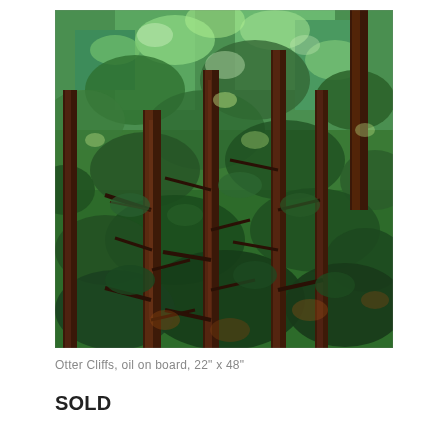[Figure (illustration): A painting of a dense forest with tall conifer trees (pines/spruces) viewed from below, lush green foliage filling the canopy, dark brown textured trunks, vibrant impressionistic style in oil on board.]
Otter Cliffs, oil on board, 22" x 48"
SOLD